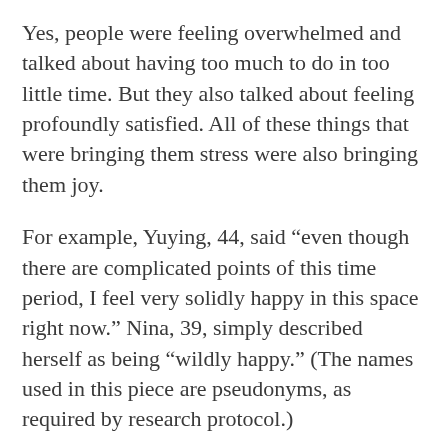Yes, people were feeling overwhelmed and talked about having too much to do in too little time. But they also talked about feeling profoundly satisfied. All of these things that were bringing them stress were also bringing them joy.
For example, Yuying, 44, said “even though there are complicated points of this time period, I feel very solidly happy in this space right now.” Nina, 39, simply described herself as being “wildly happy.” (The names used in this piece are pseudonyms, as required by research protocol.)
When we took an even closer look at our data, it started to become clear why people might wish to remain age 36 over any other age. People talked